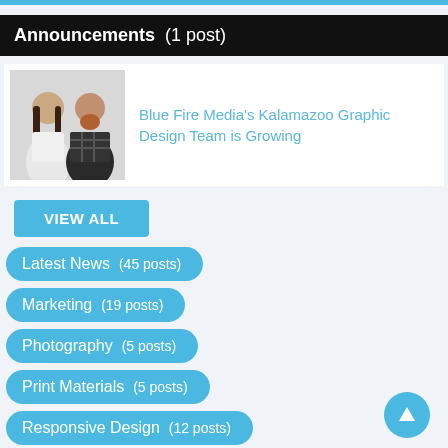Announcements  (1 post)
[Figure (photo): Two people standing back-to-back — a woman with long dark hair on the left and a bearded man in a plaid shirt on the right]
Blue Fire Media's Kalamazoo Graphic Design Team is Growing
VIEW ALL
Latest News  (45 posts)
Marketing  (19 posts)
Photography  (5 posts)
Print Materials  (5 posts)
Responsive Design  (12 posts)
SEO  (…)